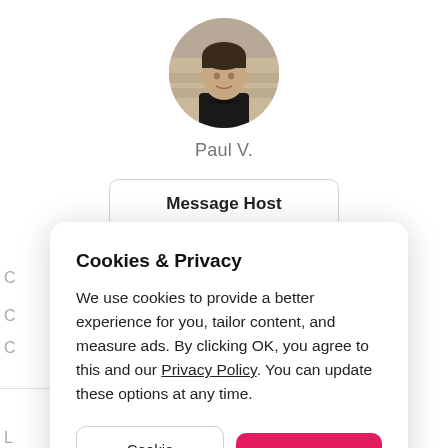[Figure (photo): Circular profile photo of a man named Paul V., wearing a dark shirt, in an indoor setting]
Paul V.
Message Host
Cookies & Privacy
We use cookies to provide a better experience for you, tailor content, and measure ads. By clicking OK, you agree to this and our Privacy Policy. You can update these options at any time.
Cookie Preferences
OK